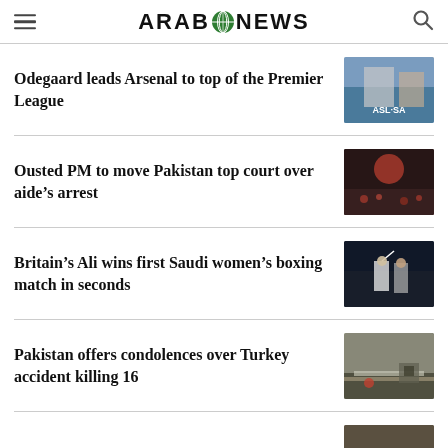ARAB NEWS
Odegaard leads Arsenal to top of the Premier League
Ousted PM to move Pakistan top court over aide’s arrest
Britain’s Ali wins first Saudi women’s boxing match in seconds
Pakistan offers condolences over Turkey accident killing 16
Russia...